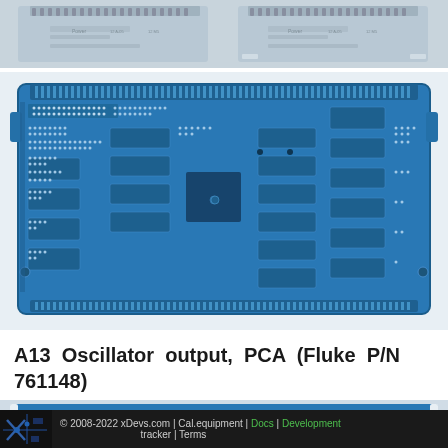[Figure (photo): Top strip photo of PCB edge connector / card guide rail, showing gold-plated connector fingers and white rail housing]
[Figure (photo): Underside (solder side) of a blue PCB marked as A13 Oscillator output PCA (Fluke P/N 761148), showing solder joints, IC footprints, and component leads densely populated across the board]
A13 Oscillator output, PCA (Fluke P/N 761148)
[Figure (photo): Partial bottom photo of another PCB or card assembly showing blue board with yellow component, partially cropped]
© 2008-2022 xDevs.com | Cal.equipment | Docs | Development tracker | Terms